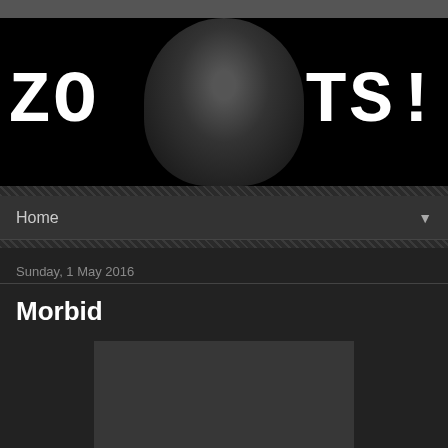[Figure (photo): Website banner with black background showing white pixel-style text 'ZO' on the left and 'TS!' on the right, with a dark helmet/gas mask figure in the center]
Home ▼
Sunday, 1 May 2016
Morbid
[Figure (photo): Dark gray placeholder image rectangle]